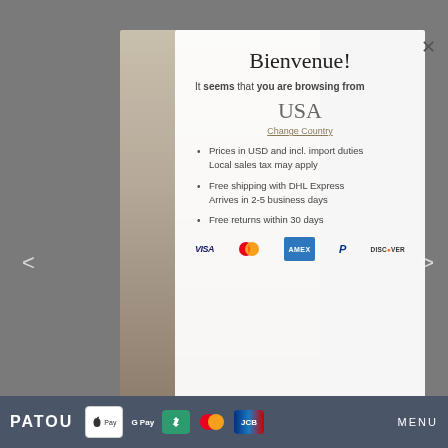Bienvenue!
It seems that you are browsing from
USA
Change Country
Prices in USD and incl. import duties Local sales tax may apply
Free shipping with DHL Express Arrives in 2-5 business days
Free returns within 30 days
[Figure (screenshot): Payment method icons: VISA, Mastercard, AMEX, PayPal, Discover]
PATOU  Apple Pay  Google Pay  [transfer icon]  [mastercard icon]  JCB  MENU